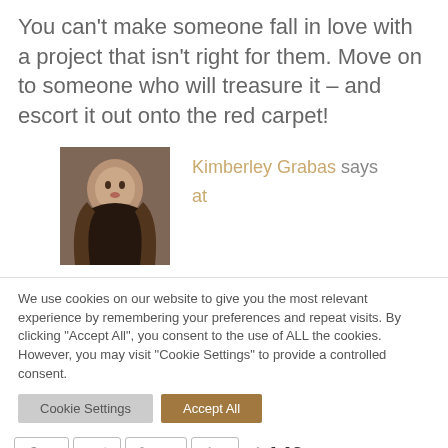You can't make someone fall in love with a project that isn't right for them. Move on to someone who will treasure it – and escort it out onto the red carpet!
Kimberley Grabas says at
We use cookies on our website to give you the most relevant experience by remembering your preferences and repeat visits. By clicking "Accept All", you consent to the use of ALL the cookies. However, you may visit "Cookie Settings" to provide a controlled consent.
27  122  149 SHARES